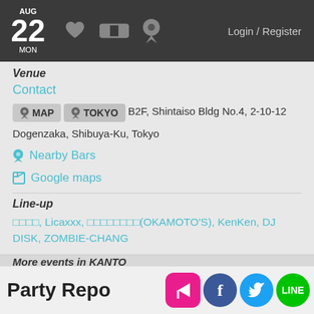AUG 22 MON | Login / Register
Venue
Contact
MAP  TOKYO  B2F, Shintaiso Bldg No.4, 2-10-12 Dogenzaka, Shibuya-Ku, Tokyo
Nearby Bars
Google maps
Line-up
□□□□, Licaxxx, □□□□□□□□(OKAMOTO'S), KenKen, DJ DISK, ZOMBIE-CHANG
More events in KANTO
CAVE & DANCE de TAMARIVER presents TSUYOSHI SUZUKI - 6hours - @ □□□□□□□□
UP-TIGHT! @ BAR bonobo
Party Repo